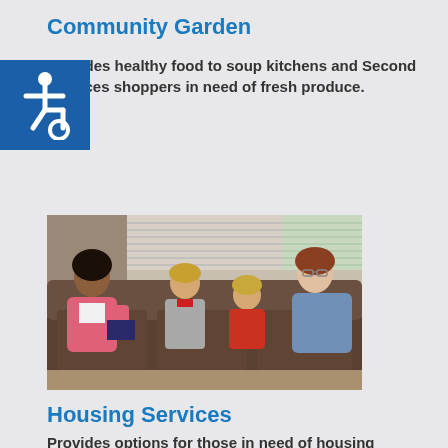Community Garden
Provides healthy food to soup kitchens and Second Chances shoppers in need of fresh produce.
[Figure (photo): A social worker or caseworker sitting on a couch with a notebook, speaking with a mother and two children in a home setting.]
Housing Services
Provides options for those in need of housing